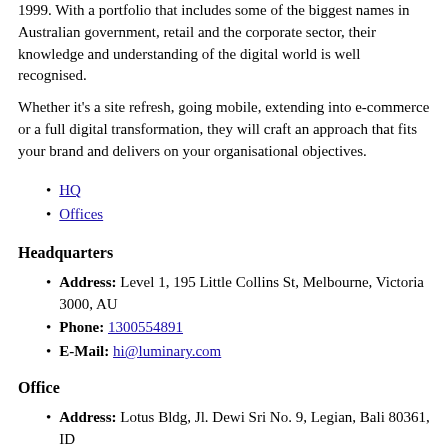1999. With a portfolio that includes some of the biggest names in Australian government, retail and the corporate sector, their knowledge and understanding of the digital world is well recognised.
Whether it's a site refresh, going mobile, extending into e-commerce or a full digital transformation, they will craft an approach that fits your brand and delivers on your organisational objectives.
HQ
Offices
Headquarters
Address: Level 1, 195 Little Collins St, Melbourne, Victoria 3000, AU
Phone: 1300554891
E-Mail: hi@luminary.com
Office
Address: Lotus Bldg, Jl. Dewi Sri No. 9, Legian, Bali 80361, ID
Phone: